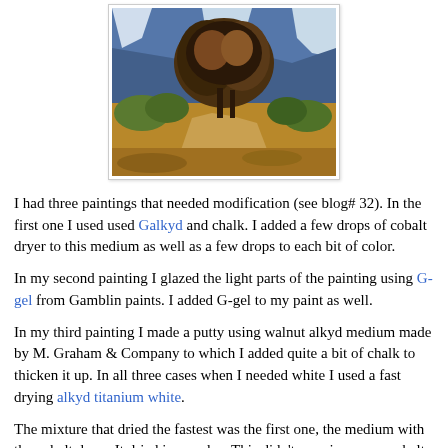[Figure (photo): Oil painting of landscape with trees, mountains, and a dirt path. Brown trees dominate center, blue mountains behind, golden/brown foreground path.]
I had three paintings that needed modification (see blog# 32). In the first one I used used Galkyd and chalk. I added a few drops of cobalt dryer to this medium as well as a few drops to each bit of color.
In my second painting I glazed the light parts of the painting using G-gel from Gamblin paints. I added G-gel to my paint as well.
In my third painting I made a putty using walnut alkyd medium made by M. Graham & Company to which I added quite a bit of chalk to thicken it up. In all three cases when I needed white I used a fast drying alkyd titanium white.
The mixture that dried the fastest was the first one, the medium with the cobalt dryer. It dried in one day. This didn't surprise me as cobalt dryer is a powerful additive. Normally I only use it in extreme cases because it is prone to crack and yellow and has toxicity issues. I might use it